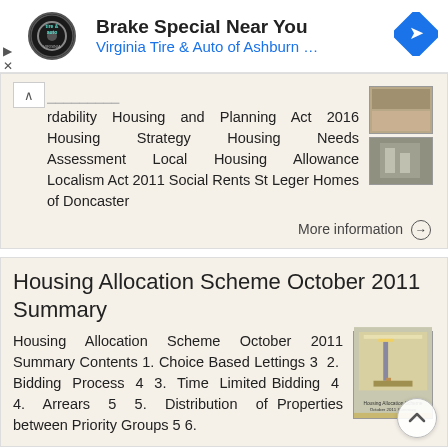[Figure (screenshot): Advertisement banner for Virginia Tire & Auto of Ashburn showing logo, 'Brake Special Near You' text, and navigation icon]
dability Housing and Planning Act 2016 Housing Strategy Housing Needs Assessment Local Housing Allowance Localism Act 2011 Social Rents St Leger Homes of Doncaster
More information →
Housing Allocation Scheme October 2011 Summary
Housing Allocation Scheme October 2011 Summary Contents 1. Choice Based Lettings 3 2. Bidding Process 4 3. Time Limited Bidding 4 4. Arrears 5 5. Distribution of Properties between Priority Groups 5 6.